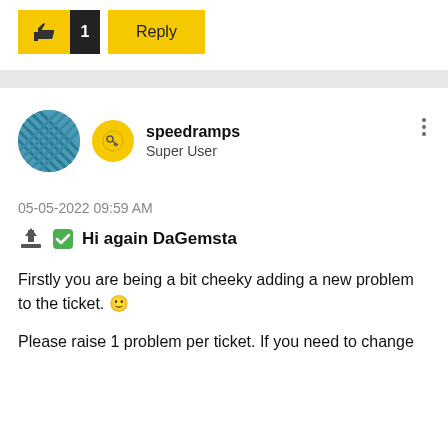[Figure (screenshot): Like button with thumbs up icon and count of 1, and a Reply button, both in yellow/black]
speedramps
Super User
05-05-2022 09:59 AM
Hi again DaGemsta
Firstly you are being a bit cheeky adding a new problem to the ticket. 😊
Please raise 1 problem per ticket. If you need to change